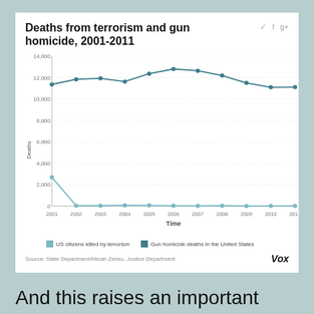[Figure (line-chart): Deaths from terrorism and gun homicide, 2001-2011]
And this raises an important question. Should